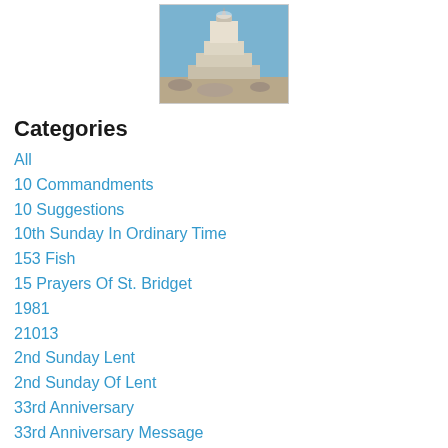[Figure (photo): A stone monument or memorial structure against a blue sky, viewed from below. The structure has a stepped/tiered base with a pointed top.]
Categories
All
10 Commandments
10 Suggestions
10th Sunday In Ordinary Time
153 Fish
15 Prayers Of St. Bridget
1981
21013
2nd Sunday Lent
2nd Sunday Of Lent
33rd Anniversary
33rd Anniversary Message
37th Charismatic Convocation
4th Sunday Of Easter